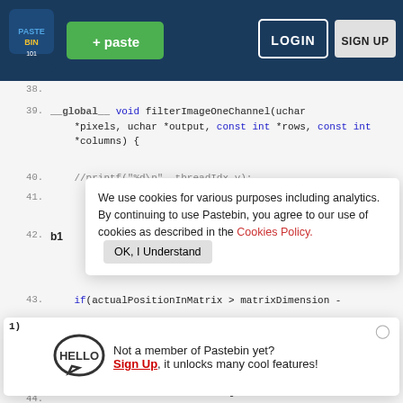[Figure (screenshot): Pastebin website header with logo, green paste button, LOGIN and SIGN UP buttons on dark blue background]
38.
39.  __global__  void filterImageOneChannel(uchar *pixels, uchar *output, const int *rows, const int *columns) {
40.  //printf("%d\n", threadIdx.y);
41.
42.
We use cookies for various purposes including analytics. By continuing to use Pastebin, you agree to our use of cookies as described in the Cookies Policy.   OK, I Understand
43.  if(actualPositionInMatrix > matrixDimension -
1)
Not a member of Pastebin yet? Sign Up, it unlocks many cool features!
44.
45.
46.  int row = actualPositionInMatrix / *columns;
47.  int column = actualPositionInMatrix % *columns;
48.  __shared__ uchar firstLine[NUM_OF_THREADS +